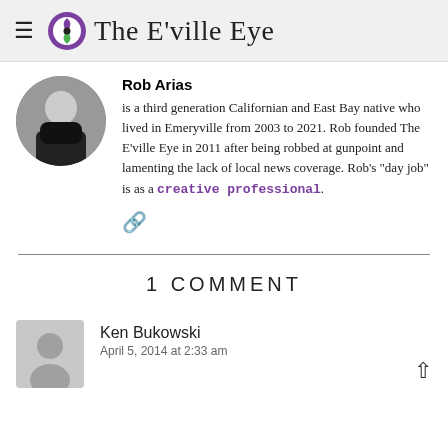The E'ville Eye
Rob Arias
is a third generation Californian and East Bay native who lived in Emeryville from 2003 to 2021. Rob founded The E'ville Eye in 2011 after being robbed at gunpoint and lamenting the lack of local news coverage. Rob's "day job" is as a creative professional.
1 COMMENT
Ken Bukowski
April 5, 2014 at 2:33 am